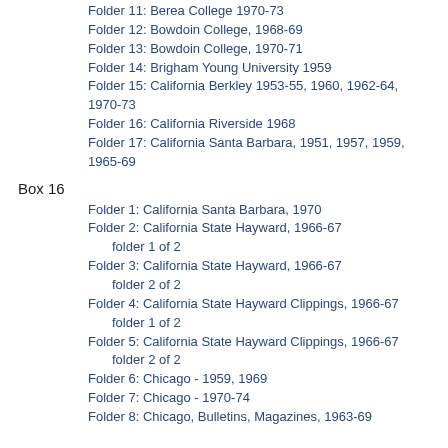Folder 11: Berea College 1970-73
Folder 12: Bowdoin College, 1968-69
Folder 13: Bowdoin College, 1970-71
Folder 14: Brigham Young University 1959
Folder 15: California Berkley 1953-55, 1960, 1962-64, 1970-73
Folder 16: California Riverside 1968
Folder 17: California Santa Barbara, 1951, 1957, 1959, 1965-69
Box 16
Folder 1: California Santa Barbara, 1970
Folder 2: California State Hayward, 1966-67
folder 1 of 2
Folder 3: California State Hayward, 1966-67
folder 2 of 2
Folder 4: California State Hayward Clippings, 1966-67
folder 1 of 2
Folder 5: California State Hayward Clippings, 1966-67
folder 2 of 2
Folder 6: Chicago - 1959, 1969
Folder 7: Chicago - 1970-74
Folder 8: Chicago, Bulletins, Magazines, 1963-69